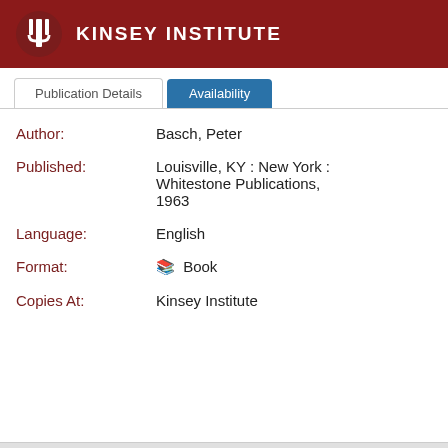KINSEY INSTITUTE
Publication Details | Availability
Author: Basch, Peter
Published: Louisville, KY : New York : Whitestone Publications, 1963
Language: English
Format: Book
Copies At: Kinsey Institute